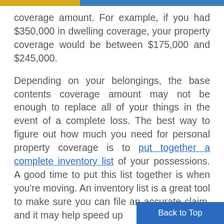coverage amount. For example, if you had $350,000 in dwelling coverage, your property coverage would be between $175,000 and $245,000.
Depending on your belongings, the base contents coverage amount may not be enough to replace all of your things in the event of a complete loss. The best way to figure out how much you need for personal property coverage is to put together a complete inventory list of your possessions. A good time to put this list together is when you're moving. An inventory list is a great tool to make sure you can file an accurate claim, and it may help speed up